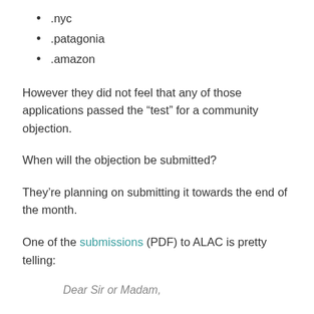.nyc
.patagonia
.amazon
However they did not feel that any of those applications passed the “test” for a community objection.
When will the objection be submitted?
They’re planning on submitting it towards the end of the month.
One of the submissions (PDF) to ALAC is pretty telling:
Dear Sir or Madam,